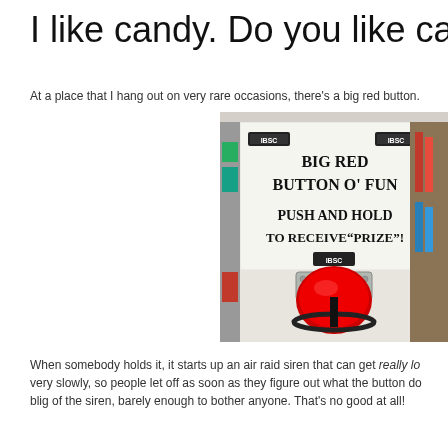I like candy. Do you like candy
At a place that I hang out on very rare occasions, there's a big red button.
[Figure (photo): A white box with a large red push button on the front, and a sign that reads 'BIG RED BUTTON O' FUN — PUSH AND HOLD TO RECEIVE "PRIZE"!' with small logos on the sign.]
When somebody holds it, it starts up an air raid siren that can get really lo very slowly, so people let off as soon as they figure out what the button do blig of the siren, barely enough to bother anyone. That's no good at all!